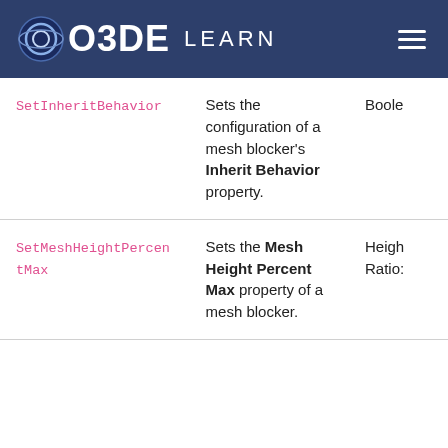O3DE LEARN
| Method | Description | Type |
| --- | --- | --- |
| SetInheritBehavior | Sets the configuration of a mesh blocker’s Inherit Behavior property. | Boole |
| SetMeshHeightPercentMax | Sets the Mesh Height Percent Max property of a mesh blocker. | Height Ratio: |